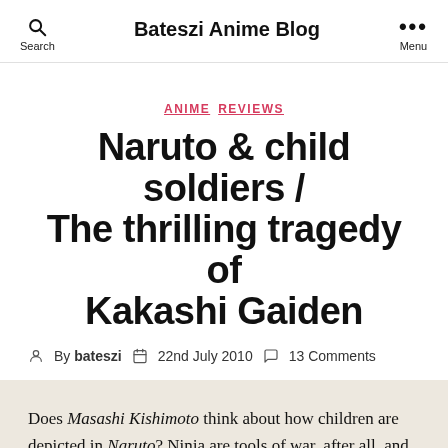Bateszi Anime Blog
ANIME  REVIEWS
Naruto & child soldiers / The thrilling tragedy of Kakashi Gaiden
By bateszi  22nd July 2010  13 Comments
Does Masashi Kishimoto think about how children are depicted in Naruto? Ninja are tools of war, after all, and Kakashi...